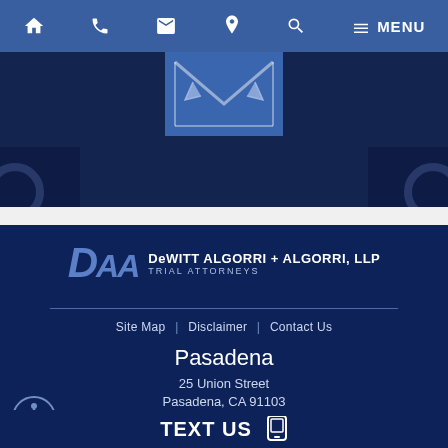Navigation bar with home, phone, mail, location, search, and menu icons
[Figure (screenshot): Hero banner area showing a dark blue overlay with a car/vehicle background, with an open envelope icon highlighted in medium blue in the center]
DeWITT ALGORRI + ALGORRI, LLP TRIAL ATTORNEYS
Site Map | Disclaimer | Contact Us
Pasadena
25 Union Street
Pasadena, CA 91103
get directions
TEXT US